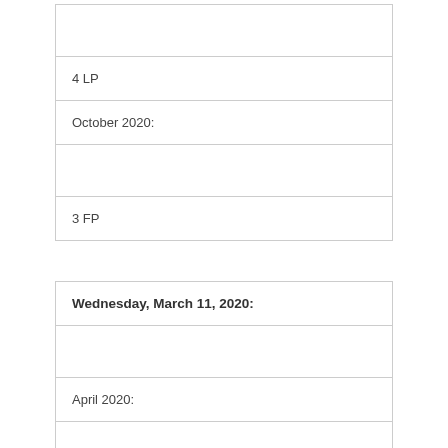|  |
| 4 LP |
| October 2020: |
|  |
| 3 FP |
| Wednesday, March 11, 2020: |
|  |
| April 2020: |
|  |
| 1 FP, 1 LP |
| June 2020: |